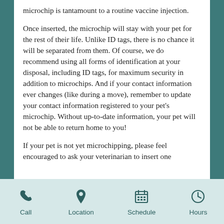microchip is tantamount to a routine vaccine injection.
Once inserted, the microchip will stay with your pet for the rest of their life. Unlike ID tags, there is no chance it will be separated from them. Of course, we do recommend using all forms of identification at your disposal, including ID tags, for maximum security in addition to microchips. And if your contact information ever changes (like during a move), remember to update your contact information registered to your pet's microchip. Without up-to-date information, your pet will not be able to return home to you!
If your pet is not yet microchipping, please feel encouraged to ask your veterinarian to insert one
Call | Location | Schedule | Hours